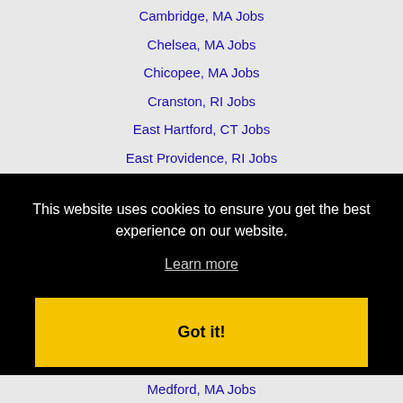Cambridge, MA Jobs
Chelsea, MA Jobs
Chicopee, MA Jobs
Cranston, RI Jobs
East Hartford, CT Jobs
East Providence, RI Jobs
Fall River, MA Jobs
Framingham, MA Jobs
Hartford, CT Jobs
Haverhill, MA Jobs
This website uses cookies to ensure you get the best experience on our website.
Learn more
Got it!
Medford, MA Jobs